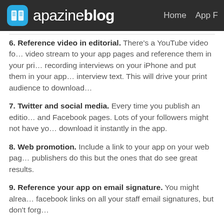apazine blog — Home  App F
6. Reference video in editorial. There's a YouTube video for… video stream to your app pages and reference them in your pri… recording interviews on your iPhone and put them in your app… interview text. This will drive your print audience to download…
7. Twitter and social media. Every time you publish an editio… and Facebook pages. Lots of your followers might not have yo… download it instantly in the app.
8. Web promotion. Include a link to your app on your web pag… publishers do this but the ones that do see great results.
9. Reference your app on email signature. You might alrea… facebook links on all your staff email signatures, but don't forg…
10. Include bonus content in your app. You can publish as m… in your app as you wish with no extra costs. So how about out…